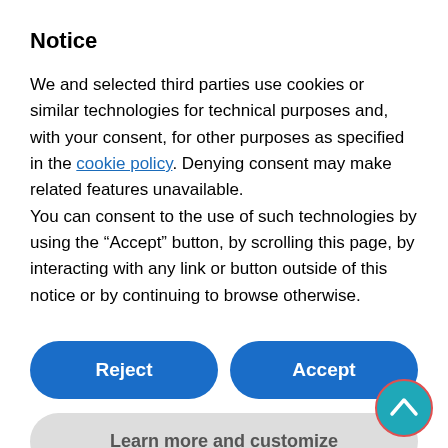Notice
We and selected third parties use cookies or similar technologies for technical purposes and, with your consent, for other purposes as specified in the cookie policy. Denying consent may make related features unavailable.
You can consent to the use of such technologies by using the “Accept” button, by scrolling this page, by interacting with any link or button outside of this notice or by continuing to browse otherwise.
Reject
Accept
Learn more and customize
practical.
The YKK Group is currently